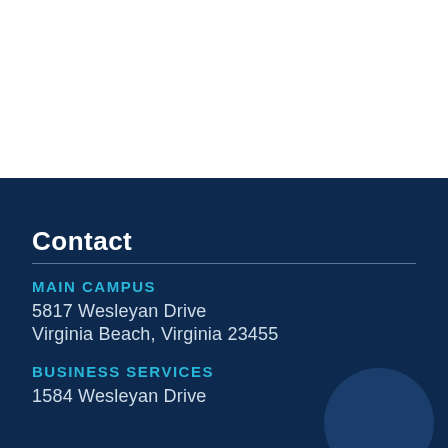Contact
MAIN CAMPUS
5817 Wesleyan Drive
Virginia Beach, Virginia 23455
BUSINESS SERVICES
1584 Wesleyan Drive